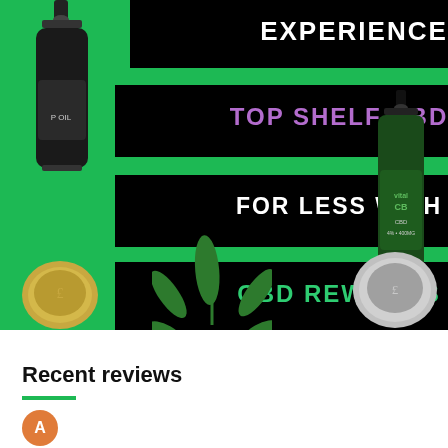[Figure (infographic): Promotional banner with green background showing CBD products (dark bottles with droppers), coins, and a cannabis leaf. Contains text banners: 'EXPERIENCE' in white, 'TOP SHELF CBD' in purple, 'FOR LESS WITH' in white, 'CBD REWARDS' in green.]
Recent reviews